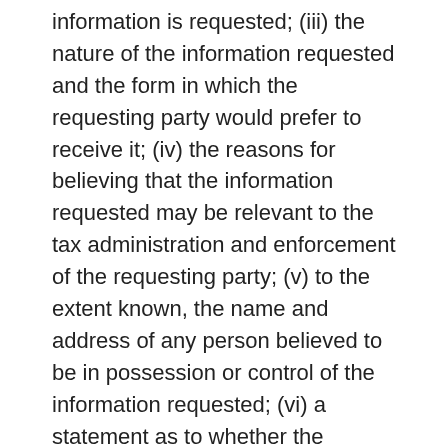(...) information is requested; (iii) the nature of the information requested and the form in which the requesting party would prefer to receive it; (iv) the reasons for believing that the information requested may be relevant to the tax administration and enforcement of the requesting party; (v) to the extent known, the name and address of any person believed to be in possession or control of the information requested; (vi) a statement as to whether the requesting party would be able to obtain and provide the requested information if a similar request were made by the requested party; and (vii) a statement that the requesting party has pursued all reasonable means available in its own territory to obtain the information, except where that would give rise to disproportionate difficulty.